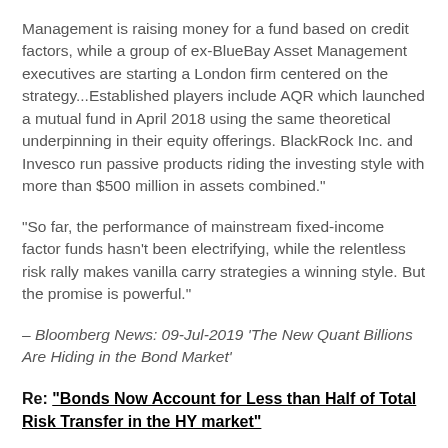Management is raising money for a fund based on credit factors, while a group of ex-BlueBay Asset Management executives are starting a London firm centered on the strategy...Established players include AQR which launched a mutual fund in April 2018 using the same theoretical underpinning in their equity offerings. BlackRock Inc. and Invesco run passive products riding the investing style with more than $500 million in assets combined."
"So far, the performance of mainstream fixed-income factor funds hasn't been electrifying, while the relentless risk rally makes vanilla carry strategies a winning style. But the promise is powerful."
– Bloomberg News: 09-Jul-2019 'The New Quant Billions Are Hiding in the Bond Market'
Re: "Bonds Now Account for Less than Half of Total Risk Transfer in the HY market"